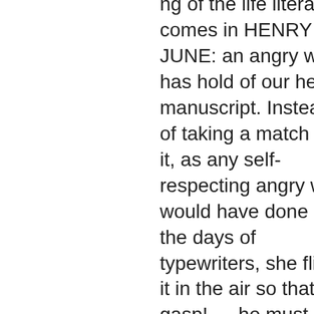ng of the life literary comes in HENRY & JUNE: an angry wife has hold of our hero's manuscript. Instead of taking a match to it, as any self-respecting angry wife would have done in the days of typewriters, she flings it in the air so that — gasp! — he must put the (numbered)